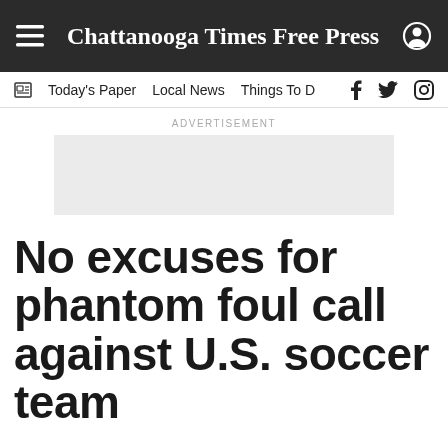Chattanooga Times Free Press
Today's Paper  Local News  Things To D
[Figure (other): Advertisement placeholder box]
No excuses for phantom foul call against U.S. soccer team